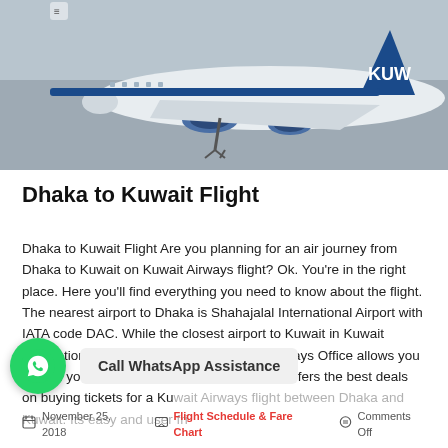[Figure (photo): Kuwait Airways airplane photographed from below in flight, showing the underside with landing gear extended. The aircraft is white with blue accents and 'KUWAI' visible on the tail. The background is a grey overcast sky.]
Dhaka to Kuwait Flight
Dhaka to Kuwait Flight Are you planning for an air journey from Dhaka to Kuwait on Kuwait Airways flight? Ok. You're in the right place. Here you'll find everything you need to know about the flight. The nearest airport to Dhaka is Shahajalal International Airport with IATA code DAC. While the closest airport to Kuwait in Kuwait International Airport with IATA code KWI. Airways Office allows you to plan your travel in the easiest way. It also offers the best deals on buying tickets for a Kuwait Airways flight between Dhaka and Kuwait. Its easy and user fri...
November 25, 2018   Flight Schedule & Fare Chart   Comments Off